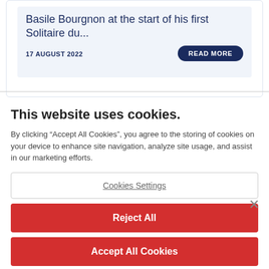Basile Bourgnon at the start of his first Solitaire du...
17 AUGUST 2022
READ MORE
This website uses cookies.
By clicking “Accept All Cookies”, you agree to the storing of cookies on your device to enhance site navigation, analyze site usage, and assist in our marketing efforts.
Cookies Settings
Reject All
Accept All Cookies